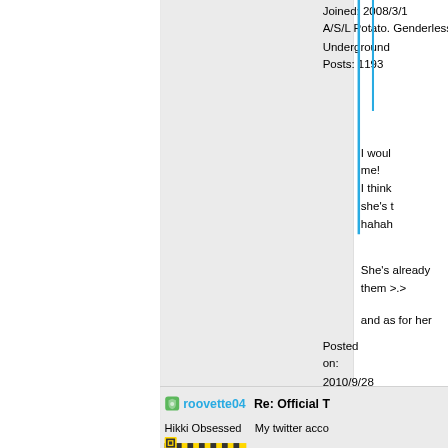Joined: 2008/3/1
A/S/L Potato. Genderless. Underground
Posts: 1193
I woul me!
I think she's t hahah
She's already them >.>
and as for her
Posted on: 2010/9/28 22:25
roovette04
Re: Official T
Hikki Obsessed
My twitter acco